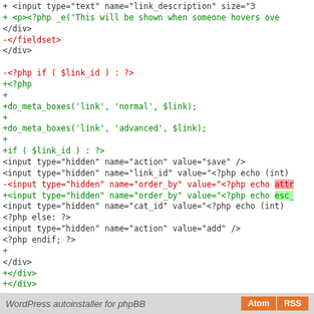[Figure (screenshot): Code diff screenshot showing PHP/HTML code with added (green) and removed (red) lines in a monospace font on white background]
WordPress autoinstaller for phpBB   Atom  RSS